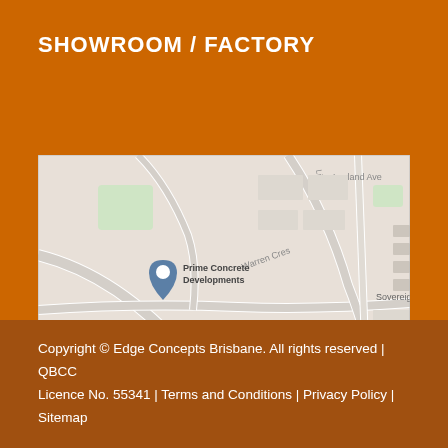SHOWROOM / FACTORY
[Figure (map): Google Maps screenshot showing the location near Prime Concrete Developments, Metro Steel, Old Skool Barbeque, Grand Prix Mazda Service Center, and Moreton Downs State School. Streets include Warren Cres, Leyland Ave, Lips Blvd. Area labeled Sovereign visible on right.]
Copyright © Edge Concepts Brisbane. All rights reserved | QBCC Licence No. 55341 | Terms and Conditions | Privacy Policy | Sitemap